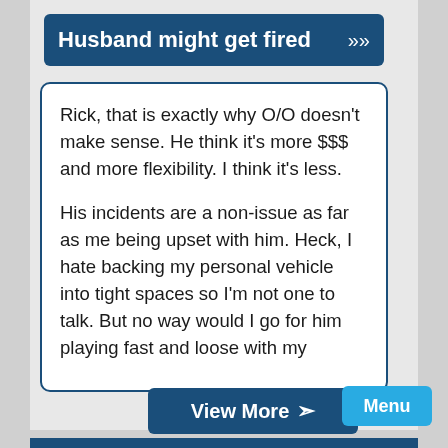Husband might get fired
Rick, that is exactly why O/O doesn't make sense. He think it's more $$$ and more flexibility. I think it's less.

His incidents are a non-issue as far as me being upset with him. Heck, I hate backing my personal vehicle into tight spaces so I'm not one to talk. But no way would I go for him playing fast and loose with my
View More
Menu